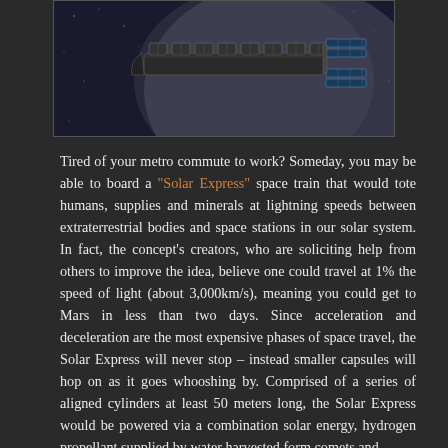[Figure (photo): Artistic rendering of the Solar Express space train concept — a long series of connected cylindrical modules shown in space against a planetary body background]
Tired of your metro commute to work? Someday, you may be able to board a "Solar Express" space train that would tote humans, supplies and minerals at lightning speeds between extraterrestrial bodies and space stations in our solar system. In fact, the concept's creators, who are soliciting help from others to improve the idea, believe one could travel at 1% the speed of light (about 3,000km/s), meaning you could get to Mars in less than two days. Since acceleration and deceleration are the most expensive phases of space travel, the Solar Express will never stop – instead smaller capsules will hop on as it goes whooshing by. Comprised of a series of aligned cylinders at least 50 meters long, the Solar Express would be powered via a combination solar energy, hydrogen propellant supplied by water harvested form comets and